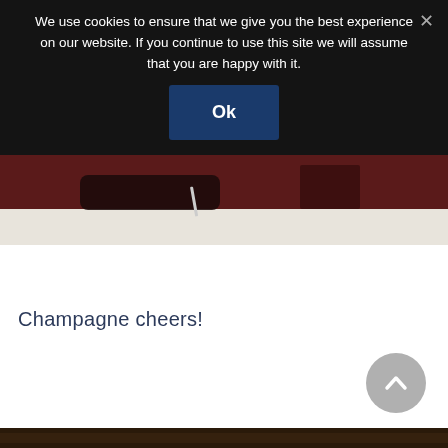We use cookies to ensure that we give you the best experience on our website. If you continue to use this site we will assume that you are happy with it.
[Figure (screenshot): Ok button on dark cookie consent overlay]
[Figure (photo): Partial photo of a person with lace glove writing with a pen on paper, wearing dark red clothing]
Champagne cheers!
[Figure (infographic): Scroll-to-top circular grey button with upward chevron arrow]
[Figure (photo): Bottom portion of another photo, dark tones, partially visible]